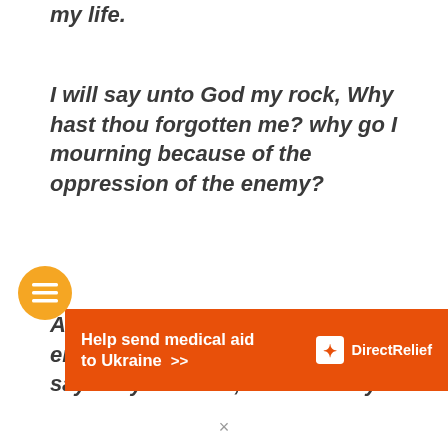my life.
I will say unto God my rock, Why hast thou forgotten me? why go I mourning because of the oppression of the enemy?
As with a sword in my bones, mine enemies reproach me; while they say daily unto me, Where is thy
[Figure (other): Orange circular menu button with three horizontal lines (hamburger icon)]
[Figure (other): Orange advertisement banner reading 'Help send medical aid to Ukraine >>' with Direct Relief logo]
×